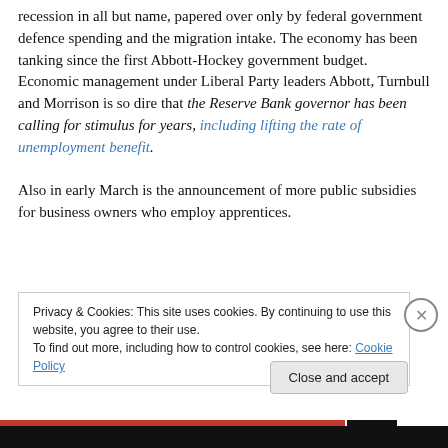This is despite the fact that the economy is already in recession in all but name, papered over only by federal government defence spending and the migration intake. The economy has been tanking since the first Abbott-Hockey government budget. Economic management under Liberal Party leaders Abbott, Turnbull and Morrison is so dire that the Reserve Bank governor has been calling for stimulus for years, including lifting the rate of unemployment benefit.

Also in early March is the announcement of more public subsidies for business owners who employ apprentices.
Privacy & Cookies: This site uses cookies. By continuing to use this website, you agree to their use.
To find out more, including how to control cookies, see here: Cookie Policy
Close and accept